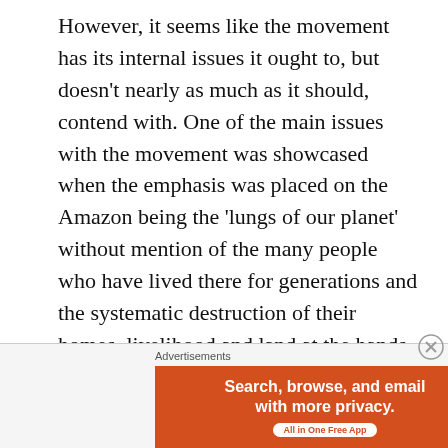However, it seems like the movement has its internal issues it ought to, but doesn't nearly as much as it should, contend with. One of the main issues with the movement was showcased when the emphasis was placed on the Amazon being the 'lungs of our planet' without mention of the many people who have lived there for generations and the systematic destruction of their homes, livelihood and land at the hands of governments and Western consumer behaviour. When the plight of indigenous tribes across the world are mentioned, it's often from a Western perspective with an insidious sense
Advertisements
[Figure (other): DuckDuckGo advertisement banner. Left side orange background with text 'Search, browse, and email with more privacy.' and 'All in One Free App'. Right side dark background with DuckDuckGo logo and name.]